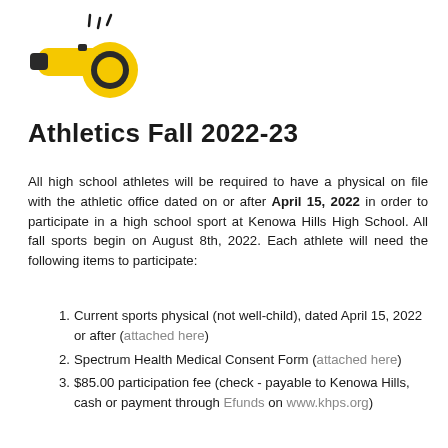[Figure (illustration): Yellow whistle icon with black sound lines above it on a white background]
Athletics Fall 2022-23
All high school athletes will be required to have a physical on file with the athletic office dated on or after April 15, 2022 in order to participate in a high school sport at Kenowa Hills High School. All fall sports begin on August 8th, 2022. Each athlete will need the following items to participate:
Current sports physical (not well-child), dated April 15, 2022 or after (attached here)
Spectrum Health Medical Consent Form (attached here)
$85.00 participation fee (check - payable to Kenowa Hills, cash or payment through Efunds on www.khps.org)